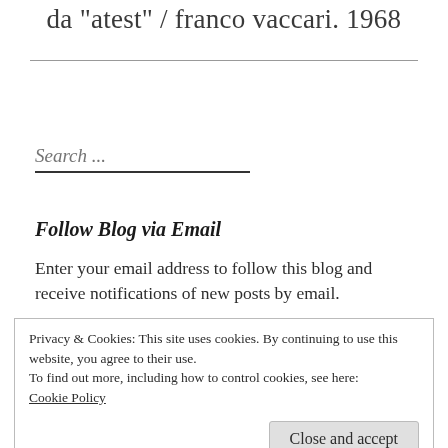da "atest" / franco vaccari. 1968
Search ...
Follow Blog via Email
Enter your email address to follow this blog and receive notifications of new posts by email.
Privacy & Cookies: This site uses cookies. By continuing to use this website, you agree to their use.
To find out more, including how to control cookies, see here: Cookie Policy
Close and accept